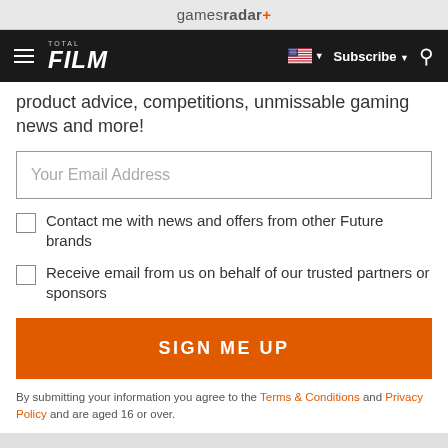gamesradar+
FILM Subscribe
product advice, competitions, unmissable gaming news and more!
Your Email Address
Contact me with news and offers from other Future brands
Receive email from us on behalf of our trusted partners or sponsors
SIGN ME UP
By submitting your information you agree to the Terms & Conditions and Privacy Policy and are aged 16 or over.
RECOMMENDED